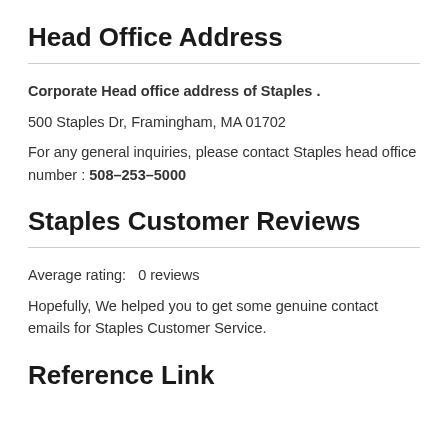Head Office Address
Corporate Head office address of Staples .
500 Staples Dr, Framingham, MA 01702
For any general inquiries, please contact Staples head office number : 508–253–5000
Staples Customer Reviews
Average rating:   0 reviews
Hopefully, We helped you to get some genuine contact emails for Staples Customer Service.
Reference Link